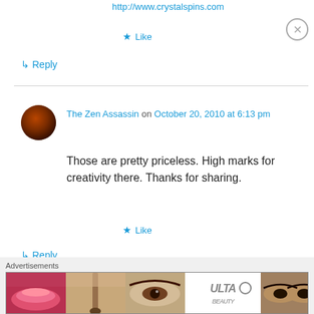http://www.crystalspins.com
★ Like
↳ Reply
The Zen Assassin on October 20, 2010 at 6:13 pm
Those are pretty priceless. High marks for creativity there. Thanks for sharing.
★ Like
↳ Reply
DaPoet on October 20, 2010 at 6:15 pm
Advertisements
[Figure (photo): ULTA beauty advertisement banner with makeup images and SHOP NOW text]